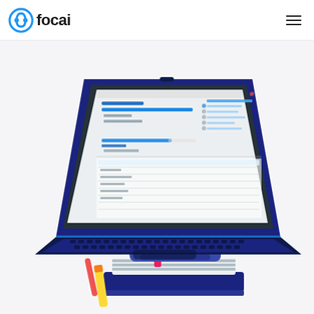[Figure (logo): Focai logo with circular headphone icon and the text 'focai' in bold]
[Figure (screenshot): A dark laptop computer displaying a Focai app interface with task lists and progress bars, sitting on top of a stack of books with school supplies around it — rendered as a 3D illustration]